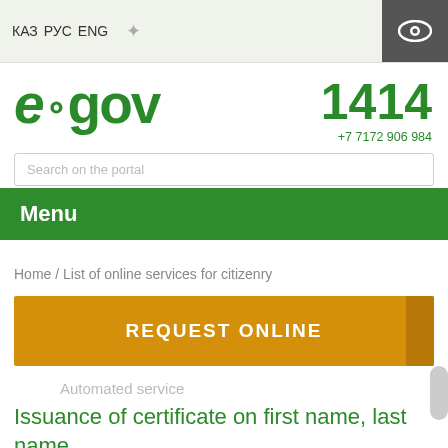КАЗ  РУС  ENG
[Figure (logo): e.gov portal logo in green, large stylized text]
1414
+7 7172 906 984
Search on the portal
Menu
Home / List of online services for citizenry
REQUEST ONLINE
Automated service
Issuance of certificate on first name, last name, patronymic change